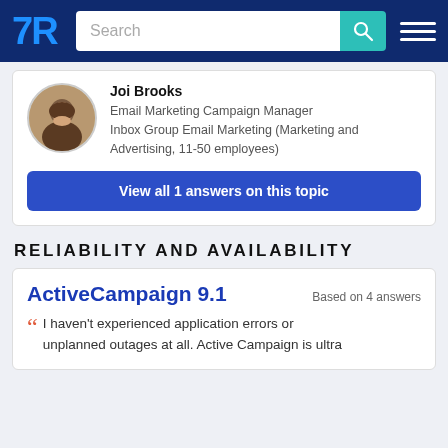TrustRadius — Search navigation bar
Joi Brooks
Email Marketing Campaign Manager
Inbox Group Email Marketing (Marketing and Advertising, 11-50 employees)
View all 1 answers on this topic
RELIABILITY AND AVAILABILITY
ActiveCampaign 9.1    Based on 4 answers
I haven't experienced application errors or unplanned outages at all. Active Campaign is ultra